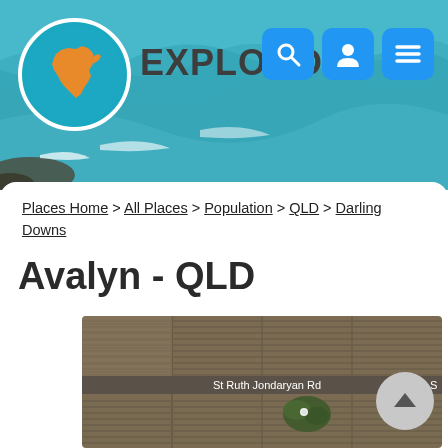EXPLOROZ
Places Home > All Places > Population > QLD > Darling Downs
Avalyn - QLD
[Figure (map): Aerial/satellite map view showing agricultural fields near Avalyn, QLD. A road labeled 'St Ruth Jondaryan Rd' runs horizontally across the image. Fields show cultivation lines. A small cluster of trees/vegetation is visible near center.]